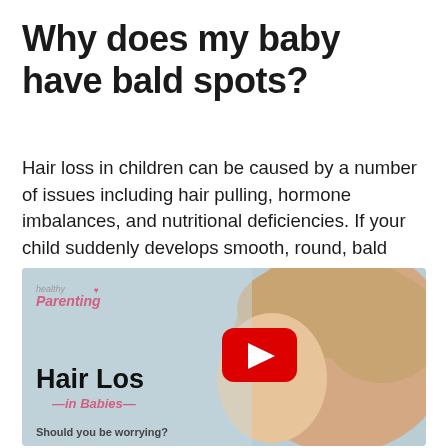Why does my baby have bald spots?
Hair loss in children can be caused by a number of issues including hair pulling, hormone imbalances, and nutritional deficiencies. If your child suddenly develops smooth, round, bald spots on their scalp and other parts of their body, they may have a condition called alopecia areata.
[Figure (screenshot): Video thumbnail showing a close-up of a baby's head with fine hair, overlaid with text 'Hair Loss in Babies' and a YouTube play button. Branded with 'healthy parenting' logo. Bottom text reads 'Should you be worrying?']